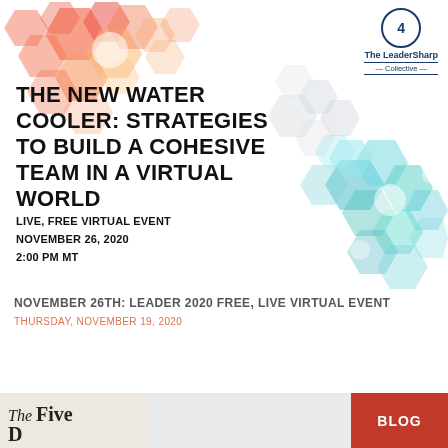[Figure (illustration): Banner image with colorful hexagon bokeh decorations (orange/red top-left, teal/cyan bottom-right, grey center-right), white background. Contains event title and details. LeaderSharp Collective logo top-right.]
THE NEW WATER COOLER: STRATEGIES TO BUILD A COHESIVE TEAM IN A VIRTUAL WORLD
LIVE, FREE VIRTUAL EVENT
NOVEMBER 26, 2020
2:00 PM MT
NOVEMBER 26TH: LEADER 2020 FREE, LIVE VIRTUAL EVENT
THURSDAY, NOVEMBER 19, 2020
[Figure (illustration): Bottom strip showing three panels: left panel with 'The Five' book title in serif italic font, middle blank/white panel, right panel with red 'BLOG' label]